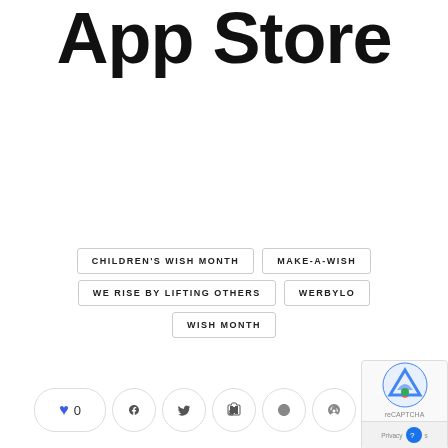App Store
CHILDREN'S WISH MONTH
MAKE-A-WISH
WE RISE BY LIFTING OTHERS
WERBYLO
WISH MONTH
[Figure (other): Social sharing buttons: heart/like with count 0, Facebook, Twitter, LinkedIn, Pinterest]
[Figure (other): reCAPTCHA widget with Google logo and Privacy/Terms bar]